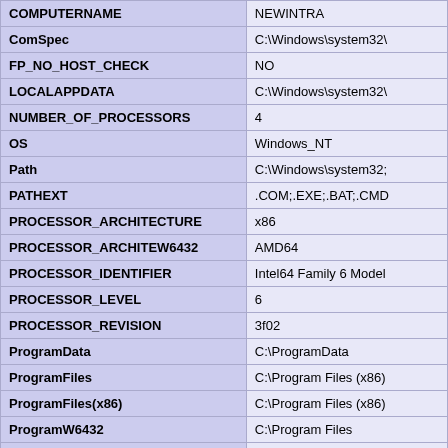| Key | Value |
| --- | --- |
| COMPUTERNAME | NEWINTRA |
| ComSpec | C:\Windows\system32\ |
| FP_NO_HOST_CHECK | NO |
| LOCALAPPDATA | C:\Windows\system32\ |
| NUMBER_OF_PROCESSORS | 4 |
| OS | Windows_NT |
| Path | C:\Windows\system32; |
| PATHEXT | .COM;.EXE;.BAT;.CMD |
| PROCESSOR_ARCHITECTURE | x86 |
| PROCESSOR_ARCHITEW6432 | AMD64 |
| PROCESSOR_IDENTIFIER | Intel64 Family 6 Model |
| PROCESSOR_LEVEL | 6 |
| PROCESSOR_REVISION | 3f02 |
| ProgramData | C:\ProgramData |
| ProgramFiles | C:\Program Files (x86) |
| ProgramFiles(x86) | C:\Program Files (x86) |
| ProgramW6432 | C:\Program Files |
| PSModulePath | C:\Windows\system32\ |
| PUBLIC | C:\Users\Public |
| SystemDrive | C: |